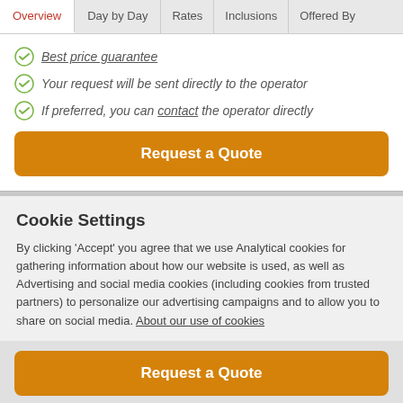Overview | Day by Day | Rates | Inclusions | Offered By
Best price guarantee
Your request will be sent directly to the operator
If preferred, you can contact the operator directly
Request a Quote
Cookie Settings
By clicking 'Accept' you agree that we use Analytical cookies for gathering information about how our website is used, as well as Advertising and social media cookies (including cookies from trusted partners) to personalize our advertising campaigns and to allow you to share on social media. About our use of cookies
Request a Quote